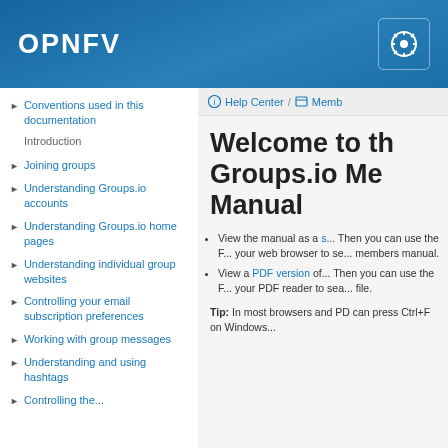OPNFV
Conventions used in this documentation
Introduction
Joining groups
Understanding Groups.io accounts
Understanding Groups.io home pages
Understanding individual group websites
Controlling your email subscription preferences
Working with group messages
Understanding and using hashtags
Controlling the...
Help Center / Memb
Welcome to the Groups.io Members Manual
View the manual as a s... Then you can use the F... your web browser to se... members manual.
View a PDF version of... Then you can use the F... your PDF reader to sea... file.
Tip: In most browsers and PD can press Ctrl+F on Windows...